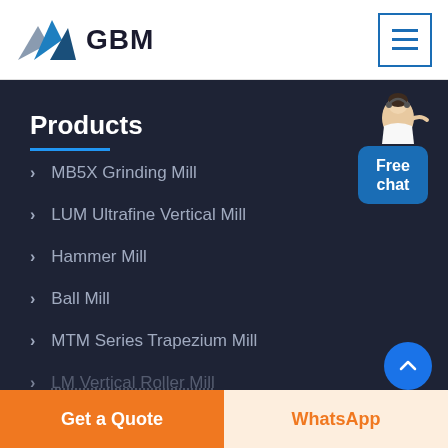[Figure (logo): GBM logo with blue mountain/arrow graphic and bold GBM text]
[Figure (other): Hamburger menu button with three blue horizontal lines in a square border]
Products
MB5X Grinding Mill
LUM Ultrafine Vertical Mill
Hammer Mill
Ball Mill
MTM Series Trapezium Mill
LM Vertical Roller Mill
[Figure (illustration): Customer service representative figure with Free chat button]
Get a Quote
WhatsApp